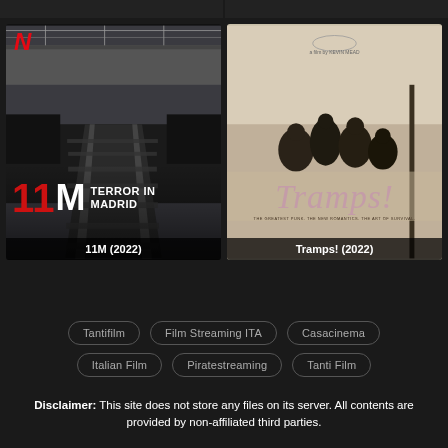[Figure (photo): Movie poster for 11M Terror in Madrid (2022) on Netflix — shows railway tracks at a station with crowds, Netflix N logo top-left, bold red and white text '11M Terror in Madrid']
11M (2022)
[Figure (photo): Movie poster for Tramps! (2022) — sepia-toned poster with award laurel at top, group of people silhouetted, cursive 'Tramps!' title in pink, tagline text below]
Tramps! (2022)
Tantifilm
Film Streaming ITA
Casacinema
Italian Film
Piratestreaming
Tanti Film
Disclaimer: This site does not store any files on its server. All contents are provided by non-affiliated third parties.